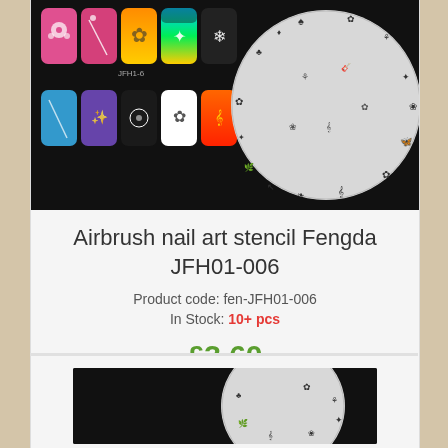[Figure (photo): Product image of airbrush nail art stencil set showing colorful nail art examples and a round stencil plate with various designs on black background]
Airbrush nail art stencil Fengda JFH01-006
Product code: fen-JFH01-006
In Stock: 10+ pcs
£3.60
1 pcs add to cart
[Figure (photo): Partial view of second product image showing airbrush nail art stencil on black background]